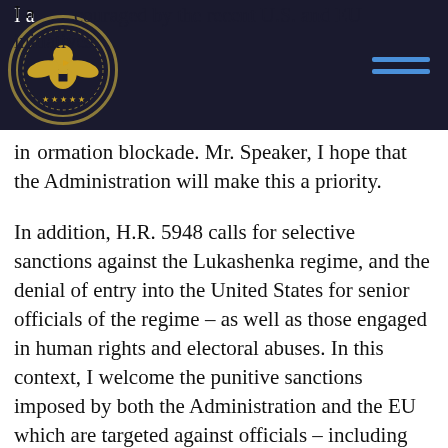Commission on Security and Cooperation in Europe
I am encouraged by the recent U.S. and EU initiatives information blockade. Mr. Speaker, I hope that the Administration will make this a priority.
In addition, H.R. 5948 calls for selective sanctions against the Lukashenka regime, and the denial of entry into the United States for senior officials of the regime – as well as those engaged in human rights and electoral abuses. In this context, I welcome the punitive sanctions imposed by both the Administration and the EU which are targeted against officials – including judges and prosecutors – involved in electoral fraud and other human rights abuses.
The bill expresses the sense of the Congress that strategic exports to the Government of Belarus should be prohibited, except for those intended for democracy